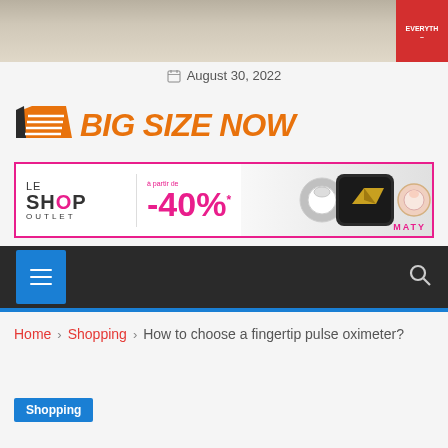[Figure (photo): Top photo strip of a store interior with a red sale badge in the top right corner]
August 30, 2022
[Figure (logo): Big Size Now logo with orange shopping bag icon and stylized orange italic text]
[Figure (infographic): Le Shop Outlet advertisement banner with -40% promotion and jewelry images, MATY branded]
[Figure (screenshot): Dark navigation bar with blue hamburger menu button and search icon]
Home > Shopping > How to choose a fingertip pulse oximeter?
Shopping